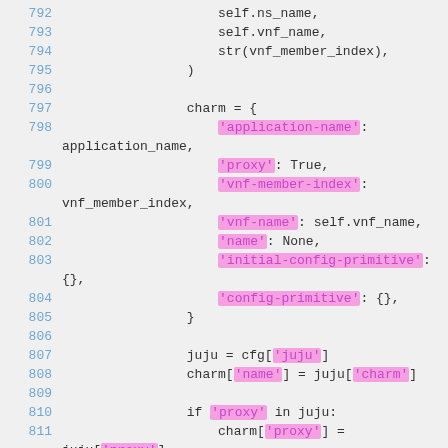[Figure (screenshot): Source code listing showing Python code lines 792-812 with syntax highlighting. Line numbers in blue on left, string literals highlighted in pink/magenta background.]